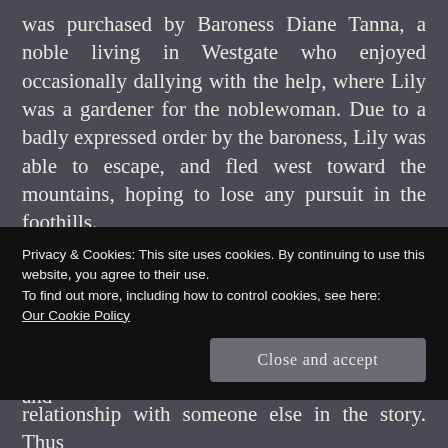was purchased by Baroness Diane Tanna, a noble living in Westgate who enjoyed occasionally dallying with the help, where Lily was a gardener for the noblewoman. Due to a badly expressed order by the baroness, Lily was able to escape, and fled west toward the mountains, hoping to lose any pursuit in the foothills.
Side Notes: Lily is in an odd position for a character. Her role in Ancient Ruins has changed more than any other character, without me expecting it. Originally I intended her to match up with Phynis and form an odd peasant and
Privacy & Cookies: This site uses cookies. By continuing to use this website, you agree to their use.
To find out more, including how to control cookies, see here:
Our Cookie Policy
relationship with someone else in the story. Thus